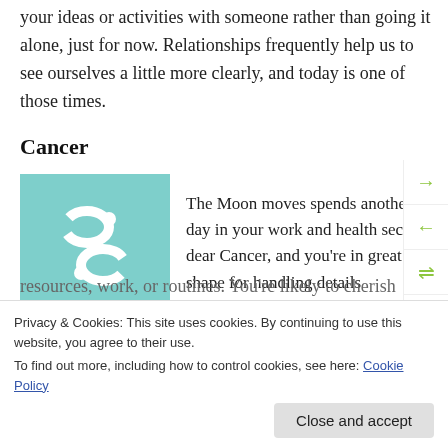your ideas or activities with someone rather than going it alone, just for now. Relationships frequently help us to see ourselves a little more clearly, and today is one of those times.
Cancer
[Figure (illustration): Teal/mint colored square with white Cancer zodiac symbol (two interlocking circles resembling the number 69)]
The Moon moves spends another day in your work and health sector, dear Cancer, and you're in great shape for handling details
resources, work, or routines. You're likely to cherish
Privacy & Cookies: This site uses cookies. By continuing to use this website, you agree to their use.
To find out more, including how to control cookies, see here: Cookie Policy